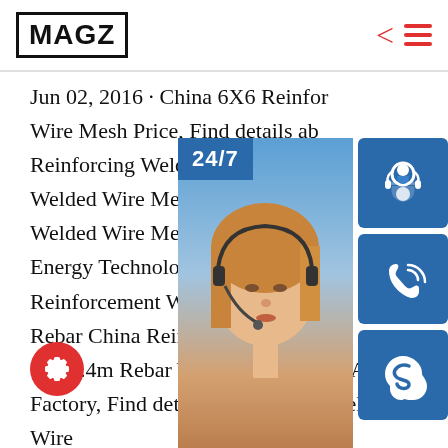MAGZ
Jun 02, 2016 · China 6X6 Reinforcing Welded Wire Mesh Price, Find details about Reinforcing Welded Wire Mesh, Welded Wire Mesh from 6X6 Reinforcing Welded Wire Mesh Price – Shandong Energy Technology Co., Ltd.sp.info Reinforcement Welded Wire Mesh Rebar China Reinforcement Welded 6m*2.4m Rebar Welded Wire Mesh Anping Factory, Find details about China Welded Wire Mesh Panel, Reinforcement Welded Wire Mesh from Reinforcement Welded Wire Mesh 6m*2.4m Rebar Welded Wire Mesh Anping
[Figure (infographic): Customer service overlay with 24/7 badge, a photo of a woman wearing a headset, icons for headset/phone/Skype, and an 'online live' button. Text includes 'PROVIDE' and 'Empowering Cu...']